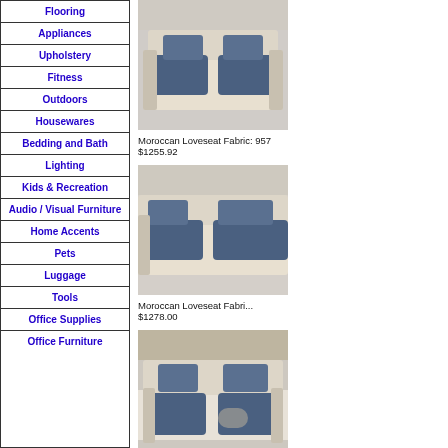Flooring
Appliances
Upholstery
Fitness
Outdoors
Housewares
Bedding and Bath
Lighting
Kids & Recreation
Audio / Visual Furniture
Home Accents
Pets
Luggage
Tools
Office Supplies
Office Furniture
[Figure (photo): Moroccan Loveseat with blue cushions, white wicker frame, Fabric 957]
Moroccan Loveseat Fabric: 957
$1255.92
[Figure (photo): Moroccan Loveseat with blue cushions, white wicker frame, Fabric (partially visible)]
Moroccan Loveseat Fabri...
$1278.00
[Figure (photo): Moroccan Loveseat with blue cushions, white wicker frame, Fabric 958]
Moroccan Loveseat Fabric: 958
$1255.92
[Figure (photo): Moroccan Loveseat with blue cushions, white wicker frame, Fabric (partially visible)]
Moroccan Loveseat Fabri...
$1278.00
[Figure (photo): Loveseat with tropical leaf print fabric and brown wicker frame]
[Figure (photo): Loveseat with tropical leaf print fabric and brown wicker frame (partially visible)]